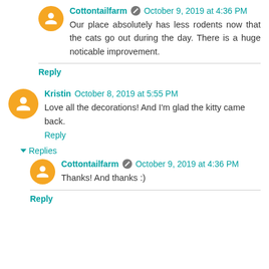Cottontailfarm October 9, 2019 at 4:36 PM
Our place absolutely has less rodents now that the cats go out during the day. There is a huge noticable improvement.
Reply
Kristin October 8, 2019 at 5:55 PM
Love all the decorations! And I'm glad the kitty came back.
Reply
Replies
Cottontailfarm October 9, 2019 at 4:36 PM
Thanks! And thanks :)
Reply